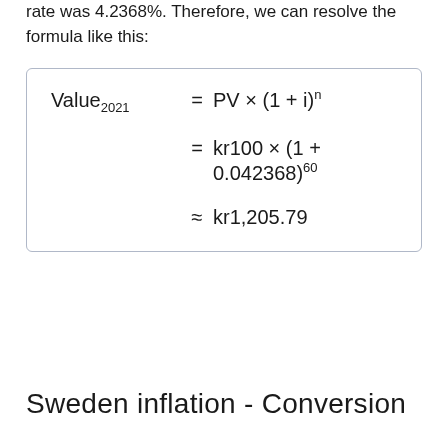rate was 4.2368%. Therefore, we can resolve the formula like this:
Sweden inflation - Conversion